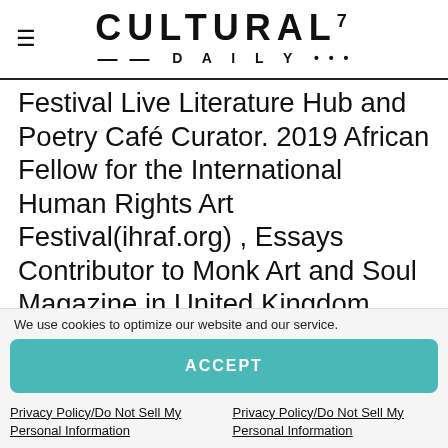CULTURAL7 DAILY
Festival Live Literature Hub and Poetry Café Curator. 2019 African Fellow for the International Human Rights Art Festival(ihraf.org) , Essays Contributor to Monk Art and Soul Magazine in United Kingdom .Arts Features Writer at the International Cultural Weekly .His Profiles , Interview and Poems are featured on periodici in Slovenie
We use cookies to optimize our website and our service.
ACCEPT
Privacy Policy/Do Not Sell My Personal Information
Privacy Policy/Do Not Sell My Personal Information